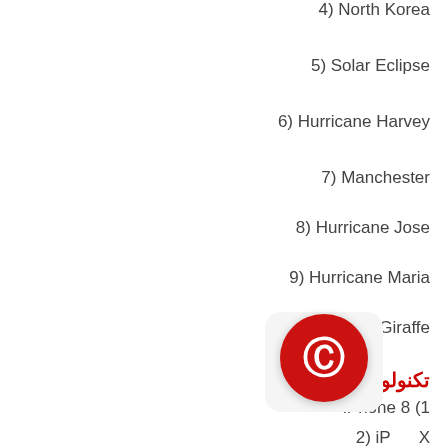4) North Korea
5) Solar Eclipse
6) Hurricane Harvey
7) Manchester
8) Hurricane Jose
9) Hurricane Maria
10) April the Giraffe
تكنولوجيا
1) iPhone 8
2) iPhone X
3) Nintendo Switch